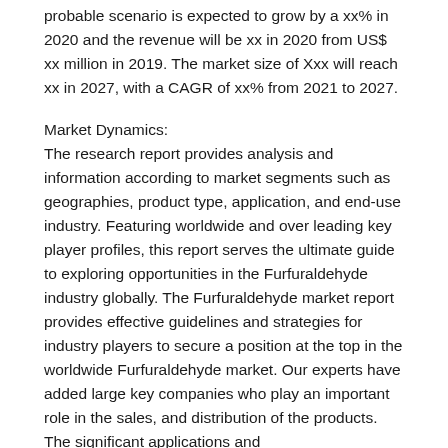probable scenario is expected to grow by a xx% in 2020 and the revenue will be xx in 2020 from US$ xx million in 2019. The market size of Xxx will reach xx in 2027, with a CAGR of xx% from 2021 to 2027.
Market Dynamics:
The research report provides analysis and information according to market segments such as geographies, product type, application, and end-use industry. Featuring worldwide and over leading key player profiles, this report serves the ultimate guide to exploring opportunities in the Furfuraldehyde industry globally. The Furfuraldehyde market report provides effective guidelines and strategies for industry players to secure a position at the top in the worldwide Furfuraldehyde market. Our experts have added large key companies who play an important role in the sales, and distribution of the products. The significant applications and